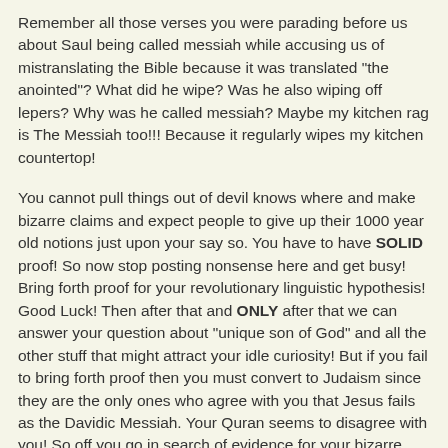Remember all those verses you were parading before us about Saul being called messiah while accusing us of mistranslating the Bible because it was translated "the anointed"? What did he wipe? Was he also wiping off lepers? Why was he called messiah? Maybe my kitchen rag is The Messiah too!!! Because it regularly wipes my kitchen countertop!
You cannot pull things out of devil knows where and make bizarre claims and expect people to give up their 1000 year old notions just upon your say so. You have to have SOLID proof! So now stop posting nonsense here and get busy! Bring forth proof for your revolutionary linguistic hypothesis! Good Luck! Then after that and ONLY after that we can answer your question about "unique son of God" and all the other stuff that might attract your idle curiosity! But if you fail to bring forth proof then you must convert to Judaism since they are the only ones who agree with you that Jesus fails as the Davidic Messiah. Your Quran seems to disagree with you! So off you go in search of evidence for your bizarre linguistic hypothesis. if you fail